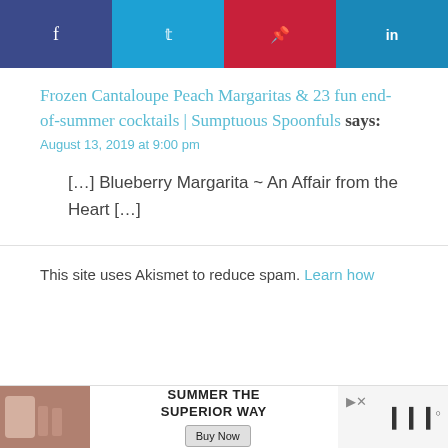[Figure (other): Social media sharing bar with four buttons: Facebook (dark blue), Twitter (light blue), Pinterest (red), LinkedIn (blue)]
Frozen Cantaloupe Peach Margaritas & 23 fun end-of-summer cocktails | Sumptuous Spoonfuls says:
August 13, 2019 at 9:00 pm
[…] Blueberry Margarita ~ An Affair from the Heart […]
This site uses Akismet to reduce spam. Learn how
[Figure (photo): Advertisement banner: photo of person with drinks on left, 'SUMMER THE SUPERIOR WAY' text with Buy Now button, close button, and brand logo on right]